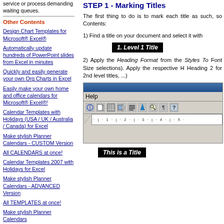service or process demanding waiting queues.
Other Contents
Design Chart Templates for Microsoft® Excel®
Automatically update hundreds of PowerPoint slides from Excel in minutes
Quickly and easily generate your own Org Charts in Excel
Easily make your own home and office calendars for Microsoft® Excel®!
Calendar Templates with Holidays (USA / UK / Australia / Canada) for Excel
Make stylish Planner Calendars - CUSTOM Version
All CALENDARS at once!
Calendar Templates 2007 with Holidays for Excel
Make stylish Planner Calendars - ADVANCED Version
All TEMPLATES at once!
Make stylish Planner Calendars
Make stylish Planner Calendars - BASIC Version
Calendar Plan - Year Planner Template
STEP 1 - Marking Titles
The first thing to do is to mark each title as such, so Contents:
1) Find a title on your document and select it with
[Figure (screenshot): Black box showing italic bold text '1. Level 1 Title' in white on black background]
2) Apply the Heading Format from the Styles To Font Size selections). Apply the respective H Heading 2 for 2nd level titles, ...)
[Figure (screenshot): Screenshot of Microsoft Word toolbar area showing blue title bar, menu bar with Help visible, toolbar with icons, and ruler]
[Figure (screenshot): Black box showing italic text 'This is a Title' in white on black background]